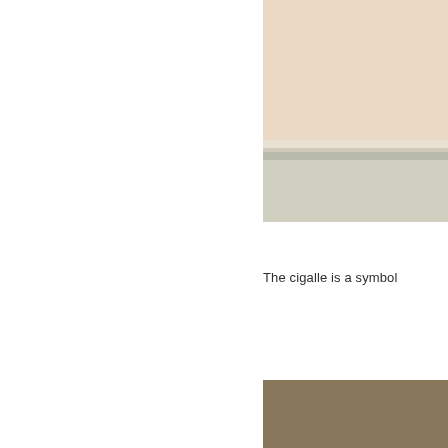[Figure (photo): Partial view of a room interior showing a wall with a cream/beige textured upper section and a pale sage/grey-green lower section, with a white shelf or ledge dividing them. The photo is cropped and shows only the right portion of the page.]
The cigalle is a symbol
[Figure (photo): A brownish-tan solid colored rectangle, appearing to be a close-up of a surface or material with a warm taupe/khaki tone. Located in the lower right portion of the page.]